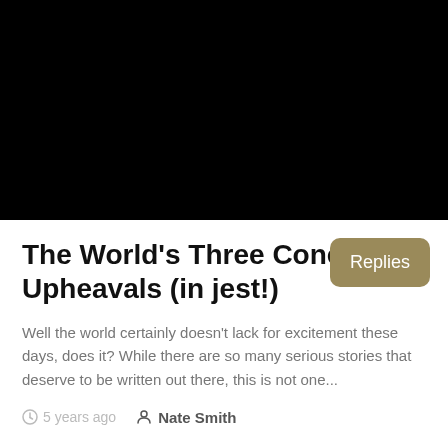[Figure (photo): Black rectangle representing a dark/black image or video thumbnail area at the top of the page]
The World's Three Concurrent Upheavals (in jest!)
Well the world certainly doesn't lack for excitement these days, does it? While there are so many serious stories that deserve to be written out there, this is not one...
5 years ago   Nate Smith